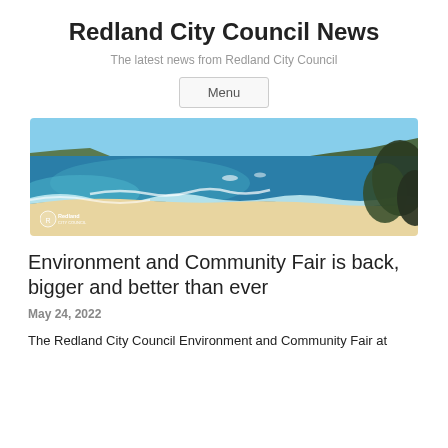Redland City Council News
The latest news from Redland City Council
Menu
[Figure (photo): Aerial panoramic photo of a beach coastline with turquoise water, white waves, sandy beach, green headland, and blue sky. Redland City Council logo in bottom left.]
Environment and Community Fair is back, bigger and better than ever
May 24, 2022
The Redland City Council Environment and Community Fair at